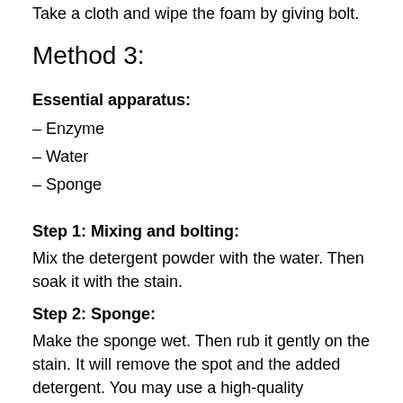Take a cloth and wipe the foam by giving bolt.
Method 3:
Essential apparatus:
– Enzyme
– Water
– Sponge
Step 1: Mixing and bolting:
Mix the detergent powder with the water. Then soak it with the stain.
Step 2: Sponge:
Make the sponge wet. Then rub it gently on the stain. It will remove the spot and the added detergent. You may use a high-quality microfiber towel for cleaning purposes.